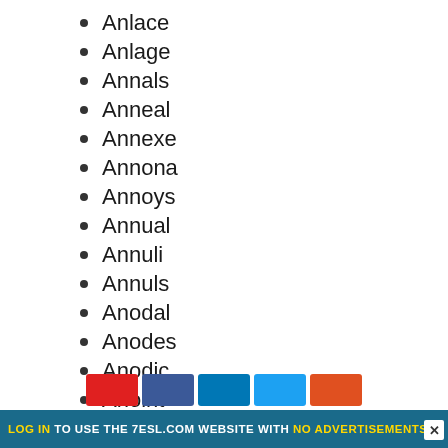Anlace
Anlage
Annals
Anneal
Annexe
Annona
Annoys
Annual
Annuli
Annuls
Anodal
Anodes
Anodic
Anoint
Anoles
LOG IN TO USE THE 7ESL.COM WEBSITE WITH NO ADVERTISEMENTS